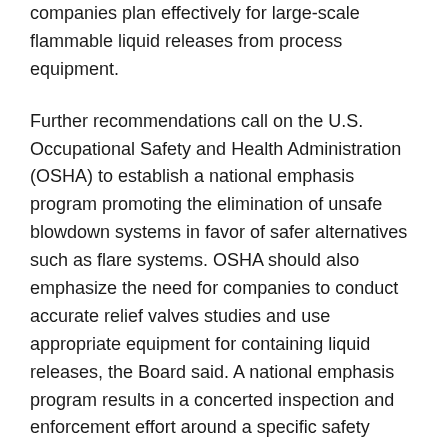companies plan effectively for large-scale flammable liquid releases from process equipment.
Further recommendations call on the U.S. Occupational Safety and Health Administration (OSHA) to establish a national emphasis program promoting the elimination of unsafe blowdown systems in favor of safer alternatives such as flare systems. OSHA should also emphasize the need for companies to conduct accurate relief valves studies and use appropriate equipment for containing liquid releases, the Board said. A national emphasis program results in a concerted inspection and enforcement effort around a specific safety hazard.
CSB Chairman Carolyn W. Merritt said, "Unfortunately, the weaknesses in design, equipment, programs, and safety investment that were identified in Texas City are not unique either to that refinery or to BP. Federal regulators and the industry itself should take prompt action to make sure that similar unsafe conditions do not exist elsewhere. Taken as a